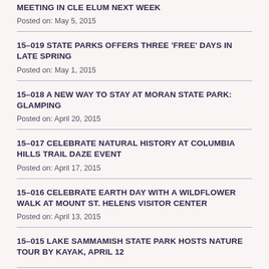MEETING IN CLE ELUM NEXT WEEK
Posted on: May 5, 2015
15-019 STATE PARKS OFFERS THREE 'FREE' DAYS IN LATE SPRING
Posted on: May 1, 2015
15-018 A NEW WAY TO STAY AT MORAN STATE PARK: GLAMPING
Posted on: April 20, 2015
15-017 CELEBRATE NATURAL HISTORY AT COLUMBIA HILLS TRAIL DAZE EVENT
Posted on: April 17, 2015
15-016 CELEBRATE EARTH DAY WITH A WILDFLOWER WALK AT MOUNT ST. HELENS VISITOR CENTER
Posted on: April 13, 2015
15-015 LAKE SAMMAMISH STATE PARK HOSTS NATURE TOUR BY KAYAK, APRIL 12